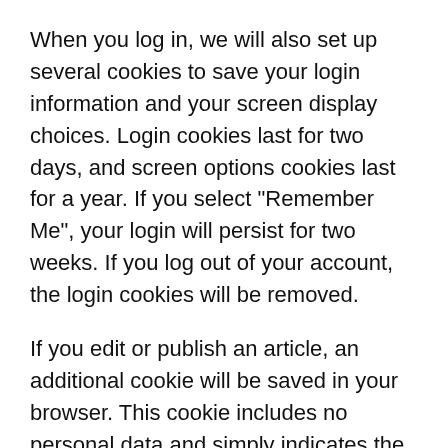When you log in, we will also set up several cookies to save your login information and your screen display choices. Login cookies last for two days, and screen options cookies last for a year. If you select "Remember Me", your login will persist for two weeks. If you log out of your account, the login cookies will be removed.
If you edit or publish an article, an additional cookie will be saved in your browser. This cookie includes no personal data and simply indicates the post ID of the article you just edited. It expires after 1 day.
Embedded content from other websites
Articles on this site may include embedded content (e.g. videos, images, articles, etc.). Embedded content from other websites behaves in the exact